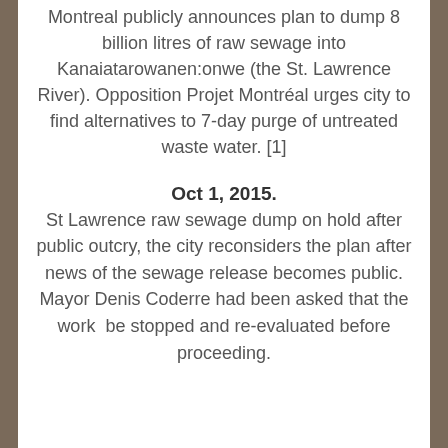Montreal publicly announces plan to dump 8 billion litres of raw sewage into Kanaiatarowanen:onwe (the St. Lawrence River). Opposition Projet Montréal urges city to find alternatives to 7-day purge of untreated waste water. [1]
Oct 1, 2015.
St Lawrence raw sewage dump on hold after public outcry, the city reconsiders the plan after news of the sewage release becomes public. Mayor Denis Coderre had been asked that the work  be stopped and re-evaluated before proceeding.